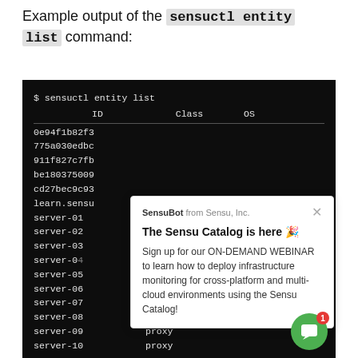Example output of the sensuctl entity list command:
[Figure (screenshot): Terminal screenshot showing 'sensuctl entity list' command output with columns ID, Class, OS. Rows include UUIDs (0e94f1b82f3..., 775a030edbc..., 911f827c7fb..., be180375009..., cd27bec9c93...) and named servers (learn.sensu, server-01 through server-10). A popup from SensuBot (Sensu, Inc.) overlays part of the terminal, announcing 'The Sensu Catalog is here' and promoting an ON-DEMAND WEBINAR about infrastructure monitoring. A green chat bubble with badge '1' is in the bottom right.]